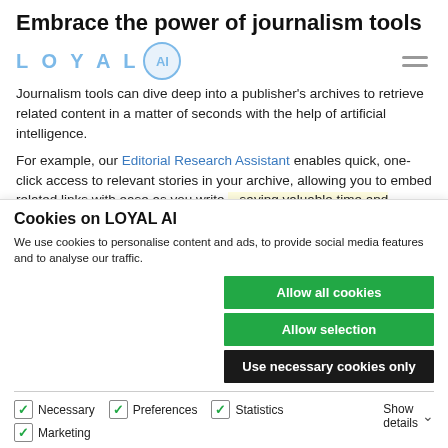Embrace the power of journalism tools
[Figure (logo): LOYAL AI logo with light blue text and circle badge, plus hamburger menu icon]
Journalism tools can dive deep into a publisher's archives to retrieve related content in a matter of seconds with the help of artificial intelligence.
For example, our Editorial Research Assistant enables quick, one-click access to relevant stories in your archive, allowing you to embed related links with ease as you write – saving valuable time and energy. Our editorial archive
Cookies on LOYAL AI
We use cookies to personalise content and ads, to provide social media features and to analyse our traffic.
Allow all cookies
Allow selection
Use necessary cookies only
Necessary
Preferences
Statistics
Marketing
Show details